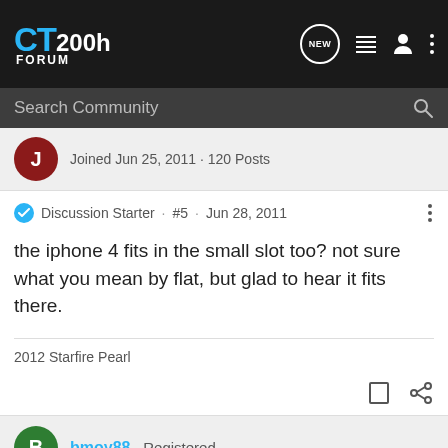CT200h FORUM
Search Community
Joined Jun 25, 2011 · 120 Posts
Discussion Starter · #5 · Jun 28, 2011
the iphone 4 fits in the small slot too? not sure what you mean by flat, but glad to hear it fits there.
2012 Starfire Pearl
bmoy88 · Registered